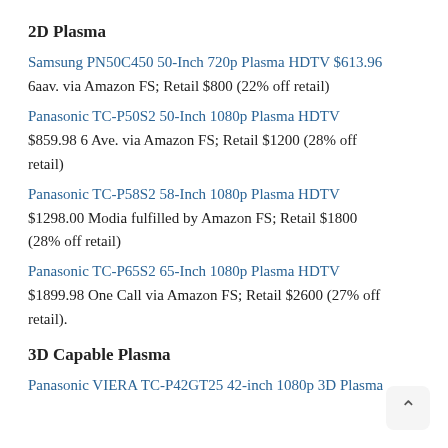2D Plasma
Samsung PN50C450 50-Inch 720p Plasma HDTV $613.96
6aav. via Amazon FS; Retail $800 (22% off retail)
Panasonic TC-P50S2 50-Inch 1080p Plasma HDTV
$859.98 6 Ave. via Amazon FS; Retail $1200 (28% off retail)
Panasonic TC-P58S2 58-Inch 1080p Plasma HDTV
$1298.00 Modia fulfilled by Amazon FS; Retail $1800 (28% off retail)
Panasonic TC-P65S2 65-Inch 1080p Plasma HDTV
$1899.98 One Call via Amazon FS; Retail $2600 (27% off retail).
3D Capable Plasma
Panasonic VIERA TC-P42GT25 42-inch 1080p 3D Plasma